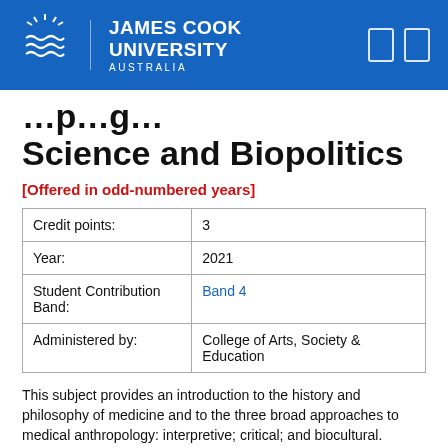James Cook University Australia
Science and Biopolitics
[Offered in odd-numbered years]
|  |  |
| --- | --- |
| Credit points: | 3 |
| Year: | 2021 |
| Student Contribution Band: | Band 4 |
| Administered by: | College of Arts, Society & Education |
This subject provides an introduction to the history and philosophy of medicine and to the three broad approaches to medical anthropology: interpretive; critical; and biocultural. Medical